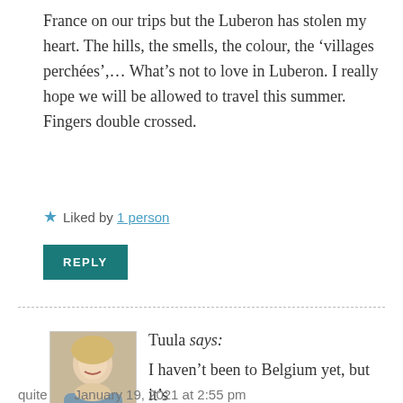France on our trips but the Luberon has stolen my heart. The hills, the smells, the colour, the ‘villages perchées’,... What’s not to love in Luberon. I really hope we will be allowed to travel this summer. Fingers double crossed.
★ Liked by 1 person
REPLY
Tuula says: I haven’t been to Belgium yet, but it’s quite
January 19, 2021 at 2:55 pm